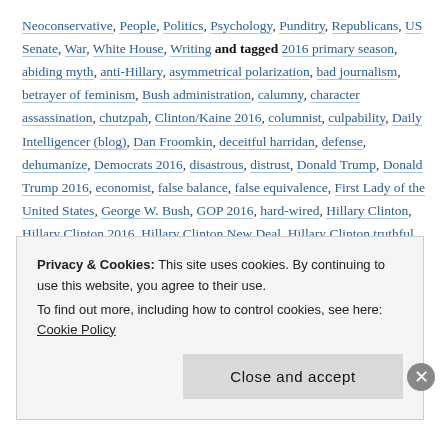Neoconservative, People, Politics, Psychology, Punditry, Republicans, US Senate, War, White House, Writing and tagged 2016 primary season, abiding myth, anti-Hillary, asymmetrical polarization, bad journalism, betrayer of feminism, Bush administration, calumny, character assassination, chutzpah, Clinton/Kaine 2016, columnist, culpability, Daily Intelligencer (blog), Dan Froomkin, deceitful harridan, defense, dehumanize, Democrats 2016, disastrous, distrust, Donald Trump, Donald Trump 2016, economist, false balance, false equivalence, First Lady of the United States, George W. Bush, GOP 2016, hard-wired, Hillary Clinton, Hillary Clinton 2016, Hillary Clinton New Deal, Hillary Clinton truthful, Hillary Rodham Clinton (HRC), Howell Raines, Iraq War, Iraqi Bush Adventure, Jonathan Chait, Joshua Roberts/Reuters, Liz Spayd, matchy-matchy, Maureen Dowd, metaphorical slope, New York Magazine, news media, Nixon
Privacy & Cookies: This site uses cookies. By continuing to use this website, you agree to their use.
To find out more, including how to control cookies, see here: Cookie Policy